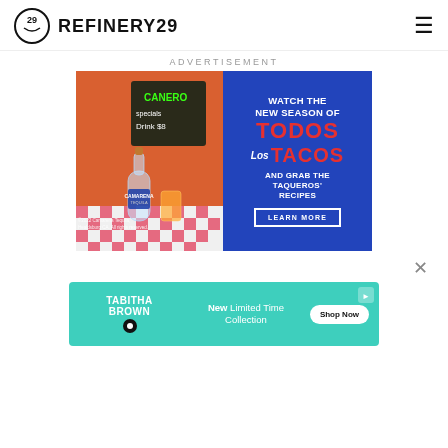REFINERY29
ADVERTISEMENT
[Figure (photo): Advertisement for Camarena Tequila featuring a bottle on a checkered tablecloth with orange background, alongside a blue ad panel for 'Todos Los Tacos' show with a 'Watch the new season of' headline and 'Learn More' button. Copyright 2022 Camarena Tequila, Healdsburg CA. All rights reserved.]
[Figure (screenshot): Bottom banner advertisement for Tabitha Brown collection with teal background showing 'New Limited Time Collection' text and 'Shop Now' button]